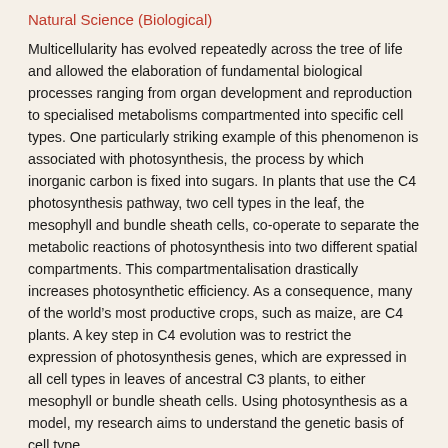Natural Science (Biological)
Multicellularity has evolved repeatedly across the tree of life and allowed the elaboration of fundamental biological processes ranging from organ development and reproduction to specialised metabolisms compartmented into specific cell types. One particularly striking example of this phenomenon is associated with photosynthesis, the process by which inorganic carbon is fixed into sugars. In plants that use the C4 photosynthesis pathway, two cell types in the leaf, the mesophyll and bundle sheath cells, co-operate to separate the metabolic reactions of photosynthesis into two different spatial compartments. This compartmentalisation drastically increases photosynthetic efficiency. As a consequence, many of the world's most productive crops, such as maize, are C4 plants. A key step in C4 evolution was to restrict the expression of photosynthesis genes, which are expressed in all cell types in leaves of ancestral C3 plants, to either mesophyll or bundle sheath cells. Using photosynthesis as a model, my research aims to understand the genetic basis of cell type